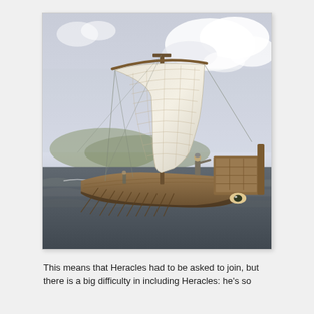[Figure (illustration): A painting of an ancient Greek galley ship sailing on rough dark waters. The ship has a large white square sail with rope rigging, a wooden hull with oars, and a raised wooden stern structure. A figure stands on the deck with arm outstretched. Hills are visible in the misty background under a cloudy sky.]
This means that Heracles had to be asked to join, but there is a big difficulty in including Heracles: he's so